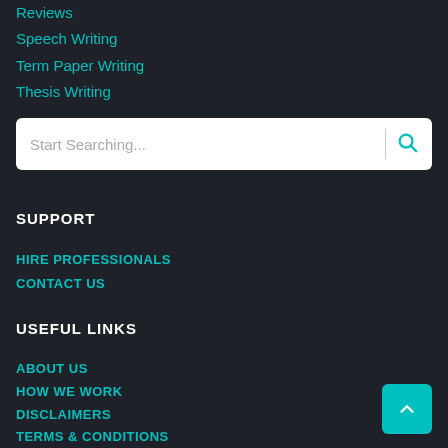Reviews
Speech Writing
Term Paper Writing
Thesis Writing
Start Searching...
SUPPORT
HIRE PROFESSIONALS
CONTACT US
USEFUL LINKS
ABOUT US
HOW WE WORK
DISCLAIMERS
TERMS & CONDITIONS